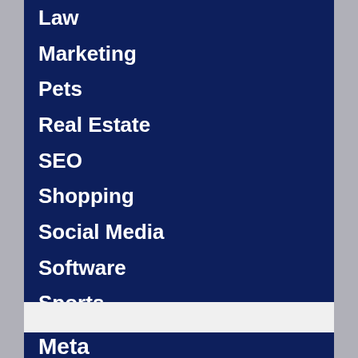Law
Marketing
Pets
Real Estate
SEO
Shopping
Social Media
Software
Sports
Technology
Travel
Web Design
Meta